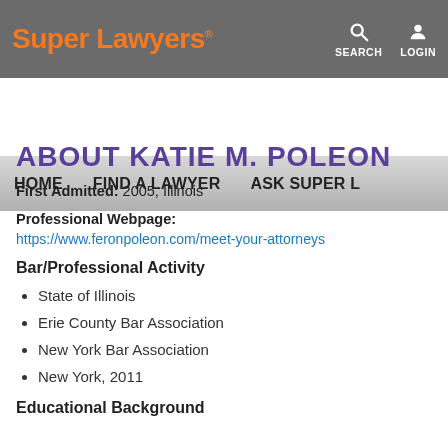Super Lawyers | SEARCH | LOGIN | HOME | FIND A LAWYER | ASK SUPER L...
ABOUT KATIE M. POLEON
First Admitted: 2005, Illinois
Professional Webpage:
https://www.feronpoleon.com/meet-your-attorneys
Bar/Professional Activity
State of Illinois
Erie County Bar Association
New York Bar Association
New York, 2011
Educational Background